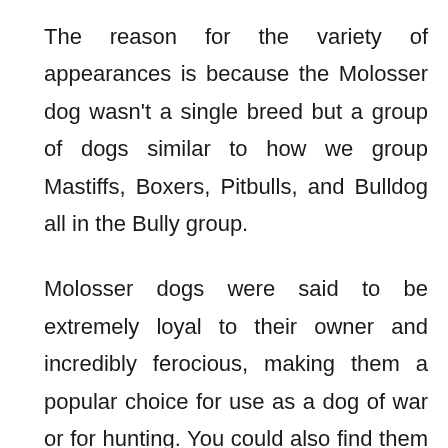The reason for the variety of appearances is because the Molosser dog wasn't a single breed but a group of dogs similar to how we group Mastiffs, Boxers, Pitbulls, and Bulldog all in the Bully group.
Molosser dogs were said to be extremely loyal to their owner and incredibly ferocious, making them a popular choice for use as a dog of war or for hunting. You could also find them guarding farms and other important property.
By most accounts these were outside working dogs, however, there is an account that states some were